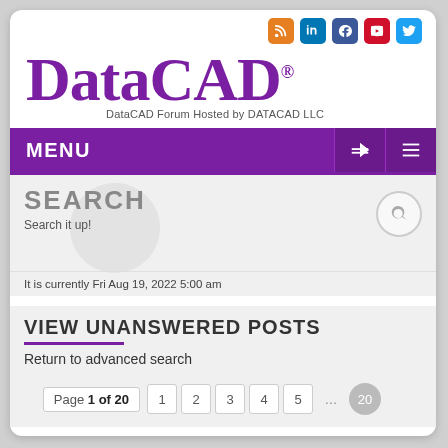[Figure (logo): DataCAD logo with social media icons (RSS, LinkedIn, Facebook, YouTube, Twitter) and subtitle 'DataCAD Forum Hosted by DATACAD LLC']
MENU
SEARCH
Search it up!
It is currently Fri Aug 19, 2022 5:00 am
VIEW UNANSWERED POSTS
Return to advanced search
Page 1 of 20   1   2   3   4   5   ...   20